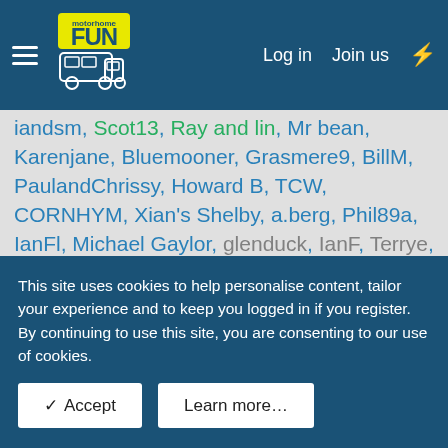Log in  Join us
iandsm, Scot13, Ray and lin, Mr bean, Karenjane, Bluemooner, Grasmere9, BillM, PaulandChrissy, Howard B, TCW, CORNHYM, Xian's Shelby, a.berg, Phil89a, IanFl, Michael Gaylor, glenduck, IanF, Terrye, Niall B, Korova, vectisroamers, ZippyTracker, fleurette, Lee Fryer, RidersofRohan, cliveb58, runrig, Ruby
This site uses cookies to help personalise content, tailor your experience and to keep you logged in if you register.
By continuing to use this site, you are consenting to our use of cookies.
✓ Accept
Learn more…